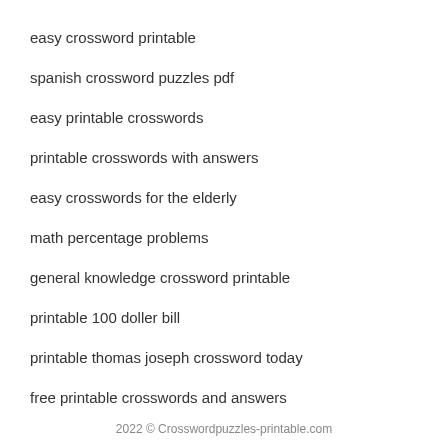easy crossword printable
spanish crossword puzzles pdf
easy printable crosswords
printable crosswords with answers
easy crosswords for the elderly
math percentage problems
general knowledge crossword printable
printable 100 doller bill
printable thomas joseph crossword today
free printable crosswords and answers
2022 © Crosswordpuzzles-printable.com